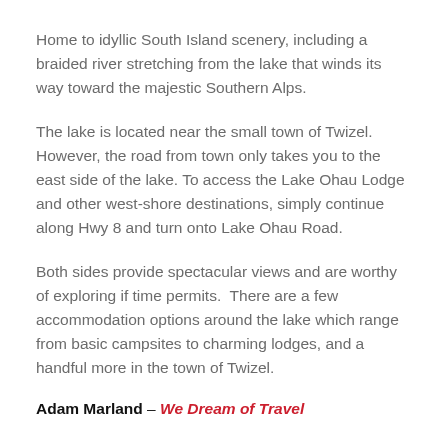Home to idyllic South Island scenery, including a braided river stretching from the lake that winds its way toward the majestic Southern Alps.
The lake is located near the small town of Twizel.  However, the road from town only takes you to the east side of the lake. To access the Lake Ohau Lodge and other west-shore destinations, simply continue along Hwy 8 and turn onto Lake Ohau Road.
Both sides provide spectacular views and are worthy of exploring if time permits.  There are a few accommodation options around the lake which range from basic campsites to charming lodges, and a handful more in the town of Twizel.
Adam Marland – We Dream of Travel